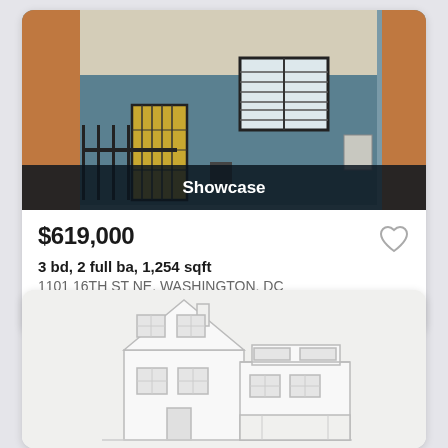[Figure (photo): Exterior photo of a blue brick row house at 1101 16TH ST NE, Washington DC, with a gold security door, iron fence, and a dark overlay banner at the bottom reading 'Showcase']
$619,000
3 bd, 2 full ba, 1,254 sqft
1101 16TH ST NE, WASHINGTON, DC
Courtesy of Samson Properties
[Figure (illustration): Architectural line drawing / sketch of a two-story residential home with a peaked roof, multiple windows, and a front porch]